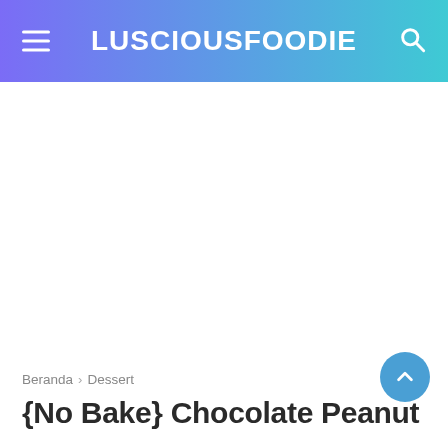LUSCIOUSFOODIE
[Figure (other): White blank advertisement or image area]
Beranda › Dessert
{No Bake} Chocolate Peanut